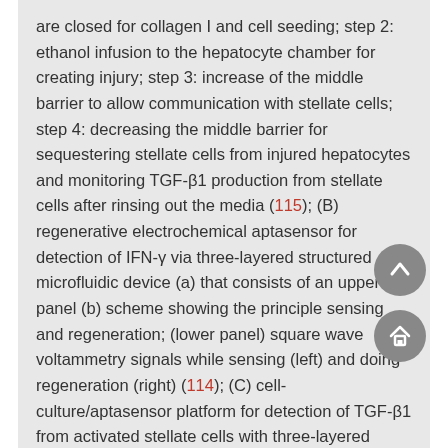are closed for collagen I and cell seeding; step 2: ethanol infusion to the hepatocyte chamber for creating injury; step 3: increase of the middle barrier to allow communication with stellate cells; step 4: decreasing the middle barrier for sequestering stellate cells from injured hepatocytes and monitoring TGF-β1 production from stellate cells after rinsing out the media (115); (B) regenerative electrochemical aptasensor for detection of IFN-γ via three-layered structured microfluidic device (a) that consists of an upper panel (b) scheme showing the principle sensing and regeneration; (lower panel) square wave voltammetry signals while sensing (left) and doing regeneration (right) (114); (C) cell-culture/aptasensor platform for detection of TGF-β1 from activated stellate cells with three-layered microfluidic device (a) as in (C), actuation of microcups (b) SWV signals before and after cytokine binding (lower panel) (c) (109). Reprinted with permissions from (109,113-115).
When it comes to single cell monitoring, and cytokine sensing from single cells, droplet based microfluidic approaches are taken into consideration since the method enables the manipulation of fluidic packets in the form of droplets and hence makes it possible